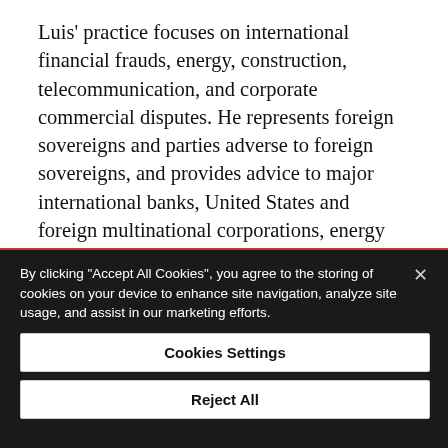Luis' practice focuses on international financial frauds, energy, construction, telecommunication, and corporate commercial disputes. He represents foreign sovereigns and parties adverse to foreign sovereigns, and provides advice to major international banks, United States and foreign multinational corporations, energy companies, and companies involved in maritime disputes. He represents parties in disputes before United States courts and before international arbitration panels (under ICC, AAA/ICDR, ICSID, and UNCITRAL rules) in a wide range of
By clicking "Accept All Cookies", you agree to the storing of cookies on your device to enhance site navigation, analyze site usage, and assist in our marketing efforts.
Cookies Settings
Reject All